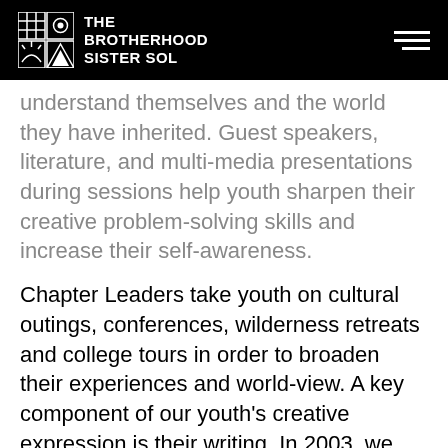THE BROTHERHOOD SISTER SOL
understand themselves and the world they have inherited. Guest speakers, literature, and multi-media presentations during sessions help youth sharpen their creative problem-solving skills and increase their self-awareness.
Chapter Leaders take youth on cultural outings, conferences, wilderness retreats and college tours in order to broaden their experiences and world-view. A key component of our youth's creative expression is their writing. In 2003, we published Voices of The Brotherhood Sister Sol, a collection of our youth members' poetry, writings, Mission Statements, Definitions, and Oaths of Dedication. This collection affirms their creative visions and further validates their